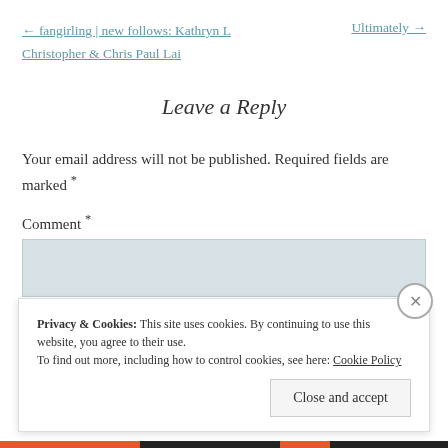← fangirling | new follows: Kathryn L Christopher & Chris Paul Lai
Ultimately →
Leave a Reply
Your email address will not be published. Required fields are marked *
Comment *
Privacy & Cookies: This site uses cookies. By continuing to use this website, you agree to their use.
To find out more, including how to control cookies, see here: Cookie Policy
Close and accept